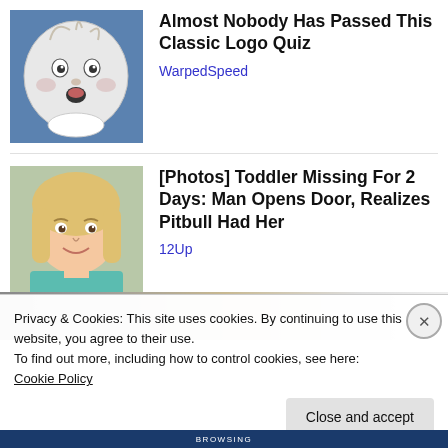[Figure (illustration): Illustration of a surprised baby face on a blue background — classic Gerber baby style sketch]
Almost Nobody Has Passed This Classic Logo Quiz
WarpedSpeed
[Figure (photo): Photo of a young blonde toddler girl in a teal shirt, smiling]
[Photos] Toddler Missing For 2 Days: Man Opens Door, Realizes Pitbull Had Her
12Up
Privacy & Cookies: This site uses cookies. By continuing to use this website, you agree to their use.
To find out more, including how to control cookies, see here: Cookie Policy